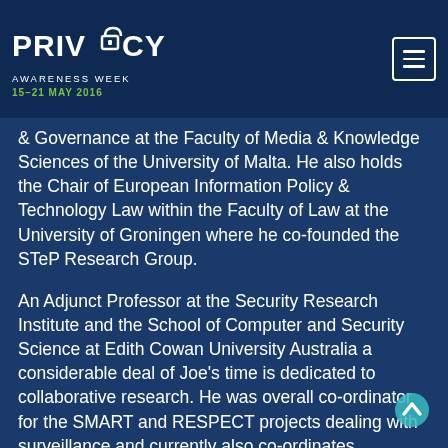Privacy Awareness Week | 15–21 MAY 2016
& Governance at the Faculty of Media & Knowledge Sciences of the University of Malta. He also holds the Chair of European Information Policy & Technology Law within the Faculty of Law at the University of Groningen where he co-founded the STeP Research Group.
An Adjunct Professor at the Security Research Institute and the School of Computer and Security Science at Edith Cowan University Australia a considerable deal of Joe's time is dedicated to collaborative research. He was overall co-ordinator for the SMART and RESPECT projects dealing with surveillance and currently also co-ordinates MAPPING dealing with Internet Governance www.mappingtheinternet.eu